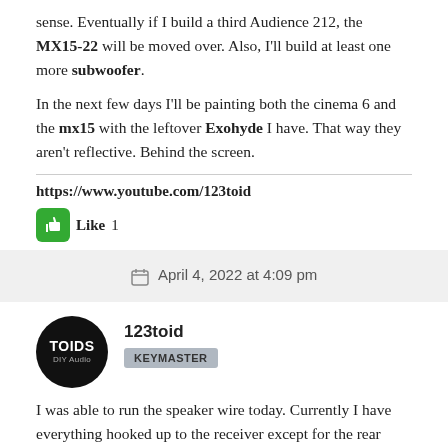sense. Eventually if I build a third Audience 212, the MX15-22 will be moved over. Also, I'll build at least one more subwoofer.
In the next few days I'll be painting both the cinema 6 and the mx15 with the leftover Exohyde I have. That way they aren't reflective. Behind the screen.
https://www.youtube.com/123toid
Like 1
April 4, 2022 at 4:09 pm
123toid
KEYMASTER
I was able to run the speaker wire today. Currently I have everything hooked up to the receiver except for the rear speakers. Those I'm still deciding on placement and I might end up redesigning the box or doing something a little different to build them into the wall. I haven't quite decided yet. Now I just need to finish the platform and change